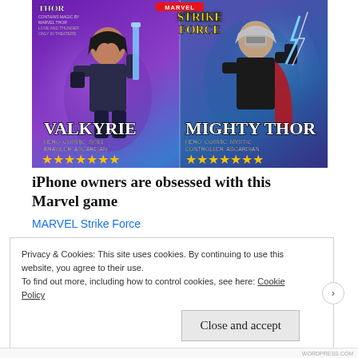[Figure (illustration): MARVEL Strike Force game advertisement showing two characters: Valkyrie (left, hero with sword, tagged HERO, COSMIC, SKILL, BRAWLER, ASGARDIAN, with 7 gold stars) and Mighty Thor (right, hero with lightning, tagged HERO, COSMIC, MYSTIC, CONTROLLER, ASGARDIAN, with 7 gold stars). Marvel and Strike Force logos at top. Thor Love and Thunder movie logo at top left.]
iPhone owners are obsessed with this Marvel game
MARVEL Strike Force
Privacy & Cookies: This site uses cookies. By continuing to use this website, you agree to their use.
To find out more, including how to control cookies, see here: Cookie Policy
Close and accept